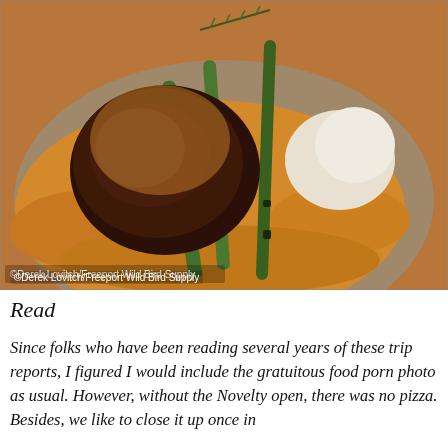[Figure (photo): A plated restaurant dish: a seared beef filet topped with yellow hollandaise-style sauce, grilled asparagus spears, mashed potatoes, all on a grey plate with sauce pooled around. A sprig of rosemary garnishes the top.]
©Derek Lovitch/Freeport Wild Bird Supply
Read
Since folks who have been reading several years of these trip reports, I figured I would include the gratuitous food porn photo as usual. However, without the Novelty open, there was no pizza. Besides, we like to close it up once in